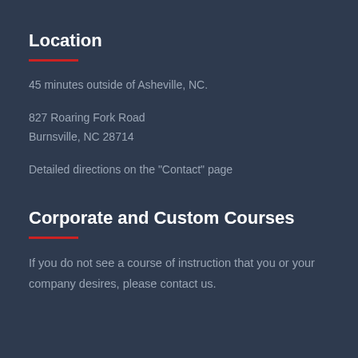Location
45 minutes outside of Asheville, NC.
827 Roaring Fork Road
Burnsville, NC 28714
Detailed directions on the "Contact" page
Corporate and Custom Courses
If you do not see a course of instruction that you or your company desires, please contact us.